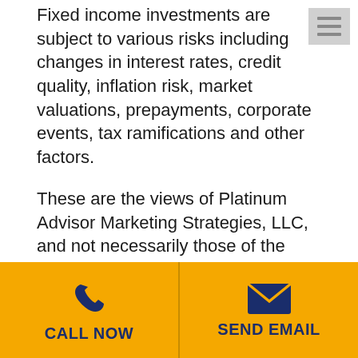Fixed income investments are subject to various risks including changes in interest rates, credit quality, inflation risk, market valuations, prepayments, corporate events, tax ramifications and other factors.
These are the views of Platinum Advisor Marketing Strategies, LLC, and not necessarily those of the named representative, Broker dealer or Investment Advisor, and should not be construed as investment advice. Neither the named representative nor the named Broker dealer or Investment Advisor gives tax or legal advice. All information is believed to be from reliable sources; however, we make no representation as to its completeness or accuracy. Please consult your
[Figure (other): Footer bar with amber/yellow background containing two buttons: CALL NOW (phone icon) and SEND EMAIL (envelope icon), separated by a vertical divider.]